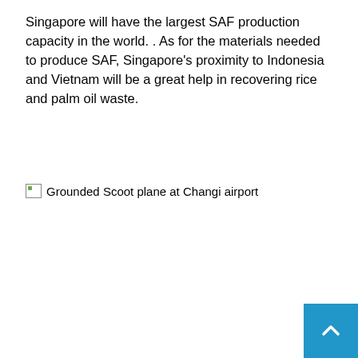Singapore will have the largest SAF production capacity in the world. . As for the materials needed to produce SAF, Singapore's proximity to Indonesia and Vietnam will be a great help in recovering rice and palm oil waste.
[Figure (photo): Broken image placeholder with alt text: Grounded Scoot plane at Changi airport]